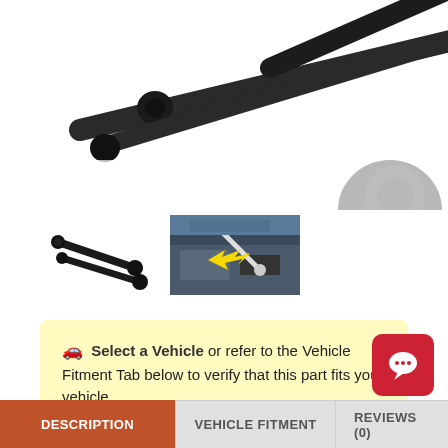[Figure (photo): Close-up photo of a black automotive hood support strut/prop rod with ball-socket end fittings against a white background]
[Figure (photo): Thumbnail 1: Two black automotive hood lift support struts shown side by side on white background]
[Figure (photo): Thumbnail 2: Photo showing the hood lift support strut installed in a vehicle engine bay, with yellow arrow pointing to the strut mounting point]
🚗 Select a Vehicle or refer to the Vehicle Fitment Tab below to verify that this part fits your vehicle.
DESCRIPTION
VEHICLE FITMENT
REVIEWS (0)